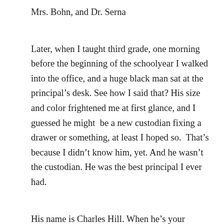Mrs. Bohn, and Dr. Serna
Later, when I taught third grade, one morning before the beginning of the schoolyear I walked into the office, and a huge black man sat at the principal’s desk. See how I said that? His size and color frightened me at first glance, and I guessed he might  be a new custodian fixing a drawer or something, at least I hoped so.  That’s because I didn’t know him, yet. And he wasn’t the custodian. He was the best principal I ever had.
His name is Charles Hill. When he’s your principal, he knows the names of even the good kids. He plays football and basketball with them at recess. He makes it a point to value all the cultures of all the kids. He includes teachers, parents, kids and the community in the life of the school. He takes up for the downtrodden no matter what color they are. He’s one of